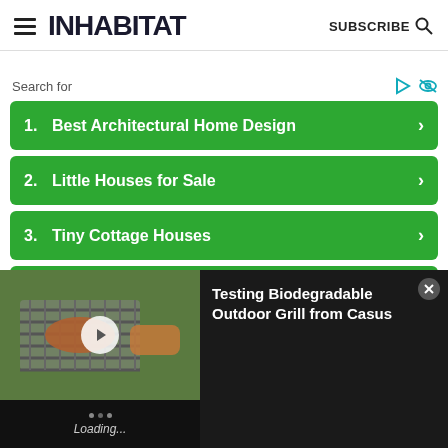INHABIT — SUBSCRIBE
Search for
1. Best Architectural Home Design
2. Little Houses for Sale
3. Tiny Cottage Houses
4. Abandoned Homes for Free
[Figure (screenshot): Video thumbnail showing a person grilling meat on an outdoor grill, with a play button overlay]
Testing Biodegradable Outdoor Grill from Casus
Loading...